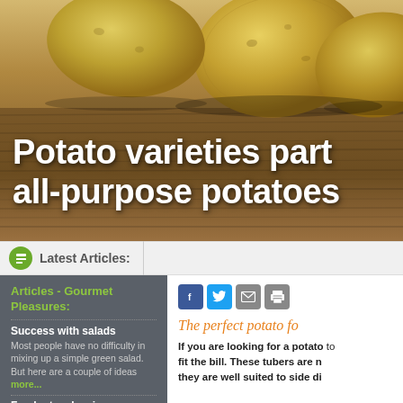[Figure (photo): Yellow potatoes on a wooden surface, used as a hero banner image for an article about potato varieties]
Potato varieties part all-purpose potatoes
Latest Articles:
Articles - Gourmet Pleasures:
Success with salads
Most people have no difficulty in mixing up a simple green salad. But here are a couple of ideas more...
Fresh strawberries are
The perfect potato fo
If you are looking for a potato to fit the bill. These tubers are n they are well suited to side di